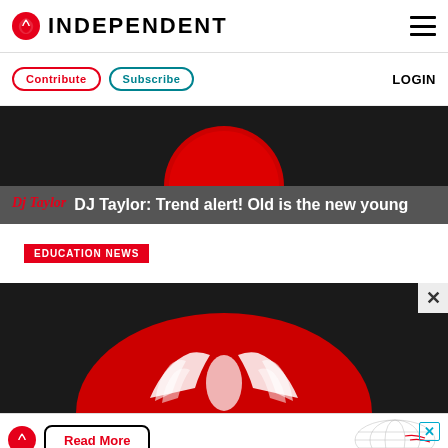INDEPENDENT
Contribute  Subscribe  LOGIN
[Figure (illustration): Dark background article thumbnail with red circle, top portion of Independent eagle logo]
Dj Taylor  DJ Taylor: Trend alert! Old is the new young
EDUCATION NEWS
[Figure (illustration): Dark background article thumbnail with red semicircle and white Independent eagle wings logo, with X close button]
[Figure (infographic): Advertisement banner: Independent eagle logo, Read More button, globe/map graphic, X close button]